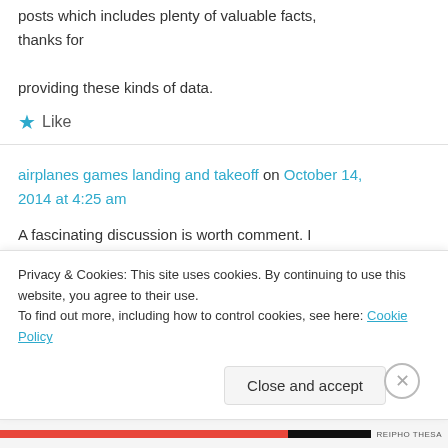posts which includes plenty of valuable facts, thanks for providing these kinds of data.
★ Like
airplanes games landing and takeoff on October 14, 2014 at 4:25 am
A fascinating discussion is worth comment. I believe that you need to publish more about this subject, it may not be a taboo matter
Privacy & Cookies: This site uses cookies. By continuing to use this website, you agree to their use.
To find out more, including how to control cookies, see here: Cookie Policy
Close and accept